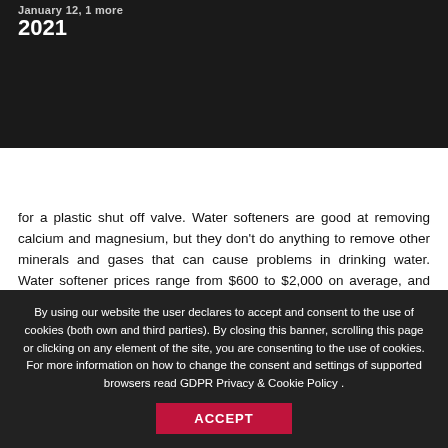[Figure (photo): Dark background photo of a person, with text overlay showing date 'January 12, 1 more' and year '2021']
January 12, 1 more
2021
for a plastic shut off valve. Water softeners are good at removing calcium and magnesium, but they don't do anything to remove other minerals and gases that can cause problems in drinking water. Water softener prices range from $600 to $2,000 on average, and the labor cost to install is $200 to $500.Water softeners cost $10 to $20 per month to run and refill salt. Other types of salt are available for specialized applications, from rock salt like Salt f
By using our website the user declares to accept and consent to the use of cookies (both own and third parties). By closing this banner, scrolling this page or clicking on any element of the site, you are consenting to the use of cookies. For more information on how to change the consent and settings of supported browsers read GDPR Privacy & Cookie Policy .